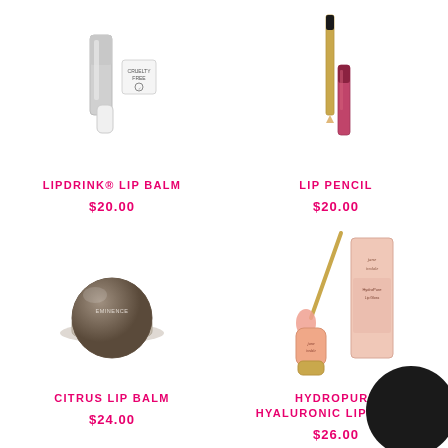[Figure (photo): LipDrink lip balm product - silver tube and cap with cruelty-free badge]
LIPDRINK® LIP BALM
$20.00
[Figure (photo): Lip Pencil product - gold pencil and pink lip gloss]
LIP PENCIL
$20.00
[Figure (photo): Citrus Lip Balm - Eminence round dome jar]
CITRUS LIP BALM
$24.00
[Figure (photo): HydroPure Hyaluronic Lip Gloss - Jane Iredale pink gloss with box]
HYDROPURE HYALURONIC LIP GLOSS
$26.00